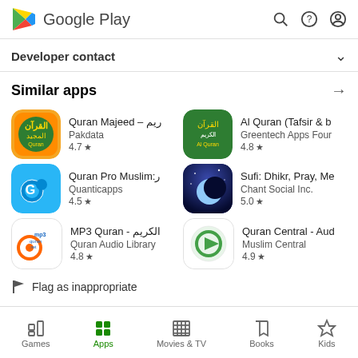Google Play
Developer contact
Similar apps
Quran Majeed – ريم
Pakdata
4.7 ★
Al Quran (Tafsir & b
Greentech Apps Four
4.8 ★
Quran Pro Muslim:ر
Quanticapps
4.5 ★
Sufi: Dhikr, Pray, Me
Chant Social Inc.
5.0 ★
MP3 Quran - الكريم
Quran Audio Library
4.8 ★
Quran Central - Aud
Muslim Central
4.9 ★
Flag as inappropriate
Games  Apps  Movies & TV  Books  Kids